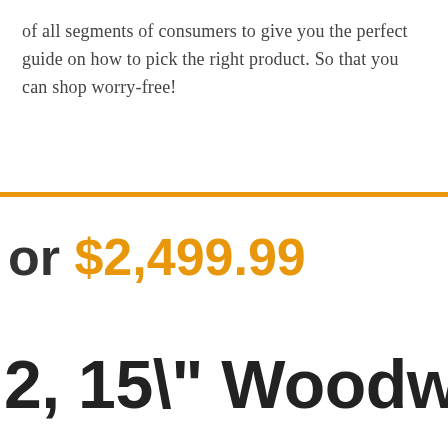of all segments of consumers to give you the perfect guide on how to pick the right product. So that you can shop worry-free!
or $2,499.99
2, 15\" Woodworki